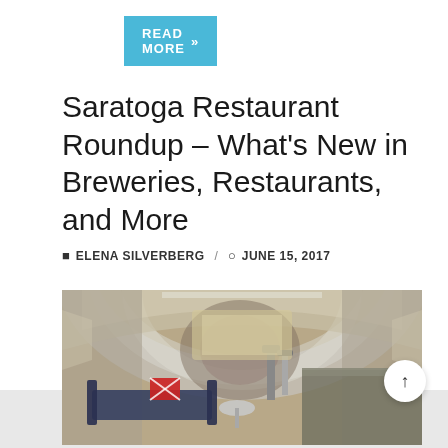READ MORE »
Saratoga Restaurant Roundup – What's New in Breweries, Restaurants, and More
ELENA SILVERBERG / JUNE 15, 2017
[Figure (photo): Interior of a shiny metallic Airstream trailer converted into a bar/lounge with blue seating, beer taps, and a bar counter.]